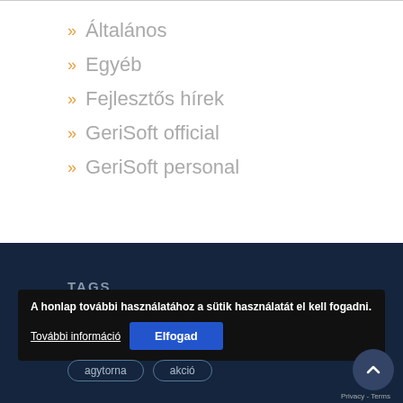Általános
Egyéb
Fejlesztős hírek
GeriSoft official
GeriSoft personal
TAGS
A honlap további használatához a sütik használatát el kell fogadni.
További információ
Elfogad
agytorna
akció
Privacy - Terms